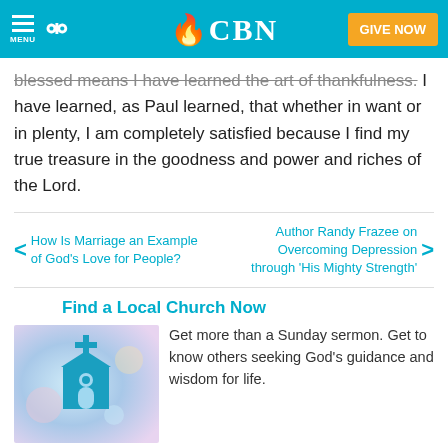CBN — GIVE NOW
blessed means I have learned the art of thankfulness. I have learned, as Paul learned, that whether in want or in plenty, I am completely satisfied because I find my true treasure in the goodness and power and riches of the Lord.
How Is Marriage an Example of God's Love for People?
Author Randy Frazee on Overcoming Depression through 'His Mighty Strength'
Find a Local Church Now
[Figure (illustration): A blue church icon silhouette with a cross, set against a soft blurred colorful background]
Get more than a Sunday sermon. Get to know others seeking God's guidance and wisdom for life.
Need Prayer?